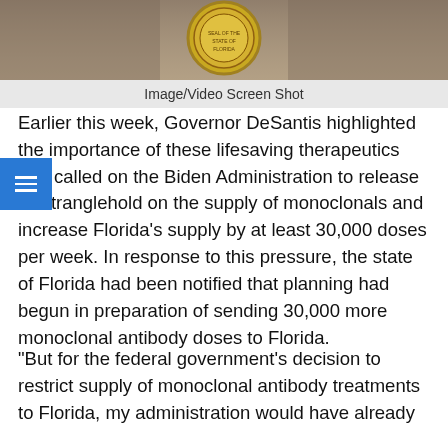[Figure (screenshot): Screen shot of a press conference or official event showing the Florida state seal in the background]
Image/Video Screen Shot
Earlier this week, Governor DeSantis highlighted the importance of these lifesaving therapeutics and called on the Biden Administration to release its stranglehold on the supply of monoclonals and increase Florida’s supply by at least 30,000 doses per week. In response to this pressure, the state of Florida had been notified that planning had begun in preparation of sending 30,000 more monoclonal antibody doses to Florida.
“But for the federal government’s decision to restrict supply of monoclonal antibody treatments to Florida, my administration would have already